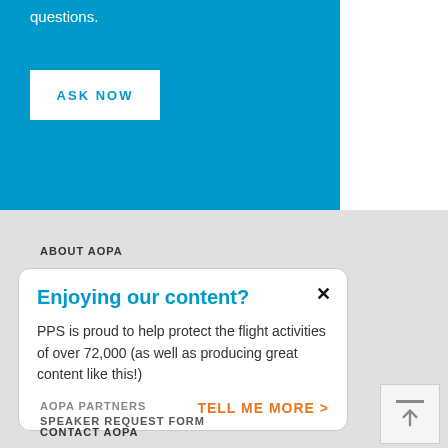questions.
ASK NOW
ABOUT AOPA
Enjoying our content?
PPS is proud to help protect the flight activities of over 72,000 (as well as producing great content like this!)
TELL ME MORE >
AOPA PARTNERS
SPEAKER REQUEST FORM
CONTACT AOPA